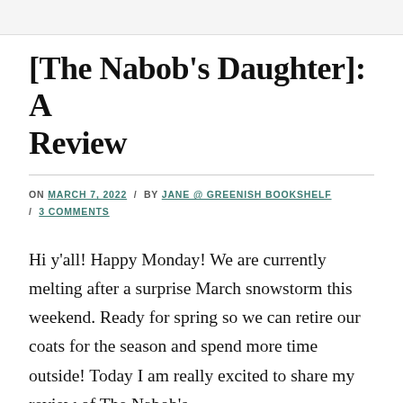[The Nabob's Daughter]: A Review
ON MARCH 7, 2022 / BY JANE @ GREENISH BOOKSHELF / 3 COMMENTS
Hi y'all! Happy Monday! We are currently melting after a surprise March snowstorm this weekend. Ready for spring so we can retire our coats for the season and spend more time outside! Today I am really excited to share my review of The Nabob's